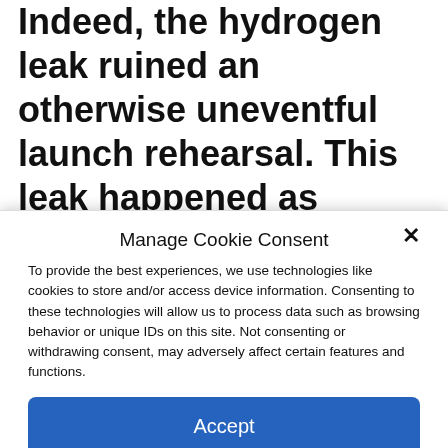Indeed, the hydrogen leak ruined an otherwise uneventful launch rehearsal. This leak happened as propellants were being poured into the rocket; crews sourced the problem to the core stage tail service mast umbilical quick disconnect, the point where the line connecting the rocket and the mobile launcher become separated during
Manage Cookie Consent
To provide the best experiences, we use technologies like cookies to store and/or access device information. Consenting to these technologies will allow us to process data such as browsing behavior or unique IDs on this site. Not consenting or withdrawing consent, may adversely affect certain features and functions.
Accept
Cookie Policy